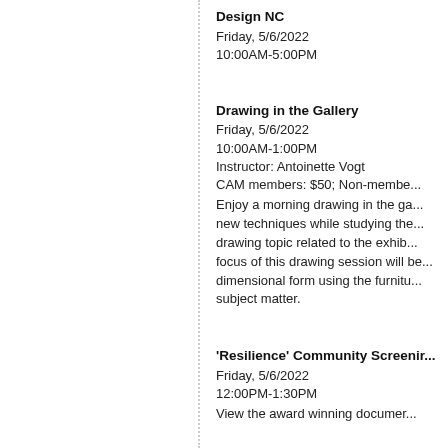Design NC
Friday, 5/6/2022
10:00AM-5:00PM
Drawing in the Gallery
Friday, 5/6/2022
10:00AM-1:00PM
Instructor: Antoinette Vogt
CAM members: $50; Non-members
Enjoy a morning drawing in the gallery and learn new techniques while studying the drawing topic related to the exhibition. The focus of this drawing session will be three dimensional form using the furniture as subject matter.
'Resilience' Community Screening
Friday, 5/6/2022
12:00PM-1:30PM
View the award winning documentary